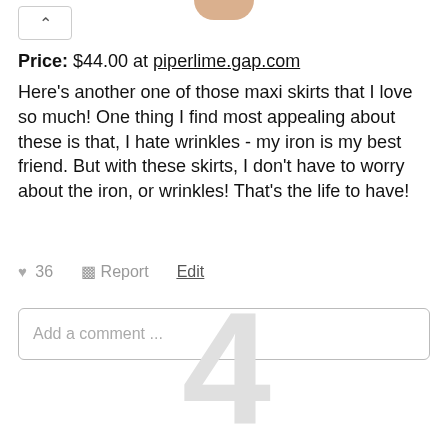Price: $44.00 at piperlime.gap.com
Here's another one of those maxi skirts that I love so much! One thing I find most appealing about these is that, I hate wrinkles - my iron is my best friend. But with these skirts, I don't have to worry about the iron, or wrinkles! That's the life to have!
♥ 36   ▪ Report   Edit
Add a comment ...